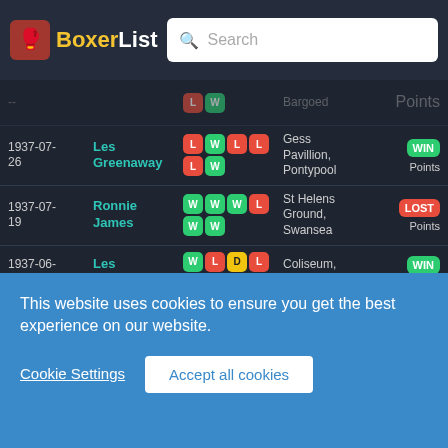BoxerList - Search
| Date | Opponent | Rounds | Venue | Result |
| --- | --- | --- | --- | --- |
| 1937-07-26 | Les Greenaway | L W L L / L W | Gess Pavillion, Pontypool | WIN Points |
| 1937-07-19 | Ronnie James | W W W / L W W | St Helens Ground, Swansea | LOST Points |
| 1937-06-12 | Les Greenaway | W L D L / W L | Coliseum, Bargoed | WIN Points |
| 1937-05-22 | Les Greenaway | L W L D / L W | Gess Pavilion, Risca | WIN Points |
| 1937-05-08 | George Morgan | L D L D / W L | Coliseum, Bargoed | DRAW Points |
| 1937-04- | Les | W L L W | Market | WIN |
This website uses cookies to ensure you get the best experience on our website.
Cookie Settings   Accept all cookies